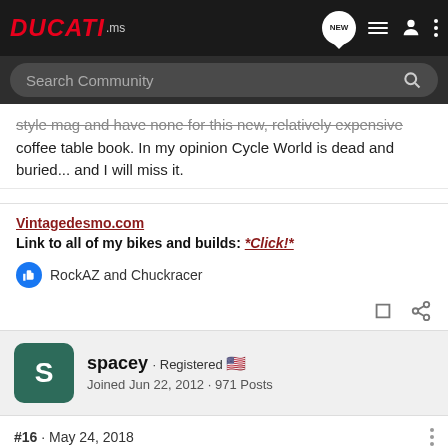DUCATI.ms
style mag and have none for this new, relatively expensive coffee table book. In my opinion Cycle World is dead and buried... and I will miss it.
Vintagedesmo.com
Link to all of my bikes and builds: *Click!*
RockAZ and Chuckracer
spacey · Registered
Joined Jun 22, 2012 · 971 Posts
#16 · May 24, 2018